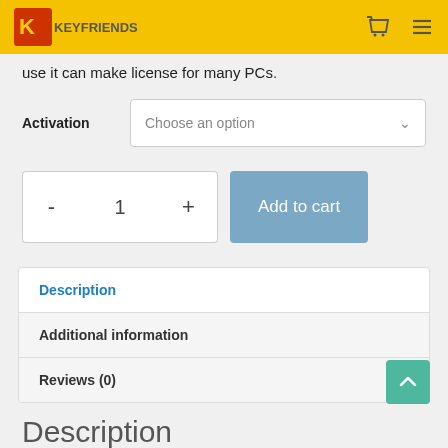Keyfriends [logo] — navigation header with cart and menu icons
use it can make license for many PCs.
Activation — Choose an option (dropdown)
- 1 + Add to cart
Description
Additional information
Reviews (0)
Description
Update: 2022